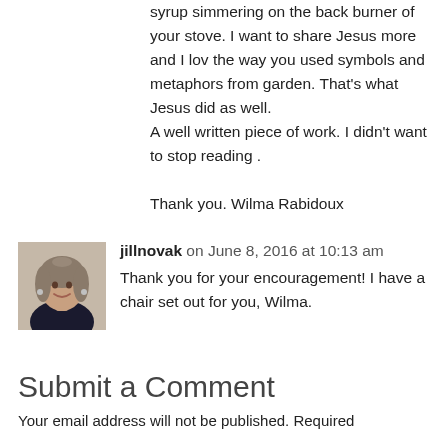syrup simmering on the back burner of your stove. I want to share Jesus more and I lov the way you used symbols and metaphors from garden. That's what Jesus did as well.
A well written piece of work. I didn't want to stop reading .

Thank you. Wilma Rabidoux
[Figure (photo): Portrait photo of jillnovak, a woman with gray and brown hair smiling]
jillnovak on June 8, 2016 at 10:13 am
Thank you for your encouragement! I have a chair set out for you, Wilma.
Submit a Comment
Your email address will not be published. Required